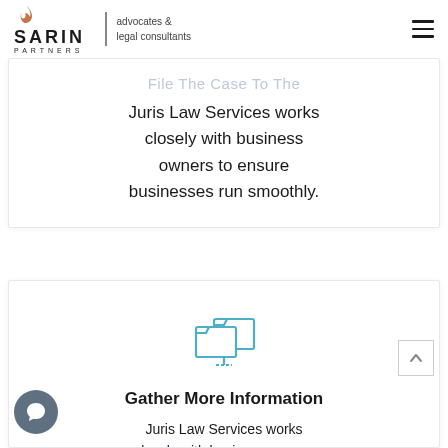SARIN PARTNERS | advocates & legal consultants
File The Case To The
Juris Law Services works closely with business owners to ensure businesses run smoothly.
[Figure (illustration): Computer/folder icon in teal/blue outline style]
Gather More Information
Juris Law Services works closely with business owners